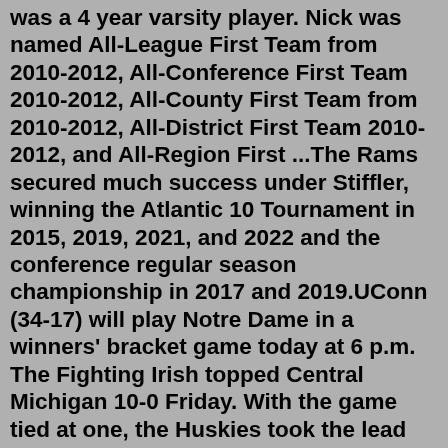was a 4 year varsity player. Nick was named All-League First Team from 2010-2012, All-Conference First Team 2010-2012, All-County First Team from 2010-2012, All-District First Team 2010-2012, and All-Region First ...The Rams secured much success under Stiffler, winning the Atlantic 10 Tournament in 2015, 2019, 2021, and 2022 and the conference regular season championship in 2017 and 2019.UConn (34-17) will play Notre Dame in a winners' bracket game today at 6 p.m. The Fighting Irish topped Central Michigan 10-0 Friday. With the game tied at one, the Huskies took the lead with ...Iowa Hawkeyes Michael Seegers (10) waves to the dugout after singling in a run against Central Michigan Friday, March 25, 2022 at Duane Banks Field. (Brian Ray/hawkeyesports.com) Iowa Hawkeyes Luke Llewellyn (34) delivers the ball to the plate against Central Michigan Friday, March 25, 2022 at Duane Banks Field.To get recruited to play college baseball, high school student-athletes must put in a lot of hard work to keep up their grades and continue to improve